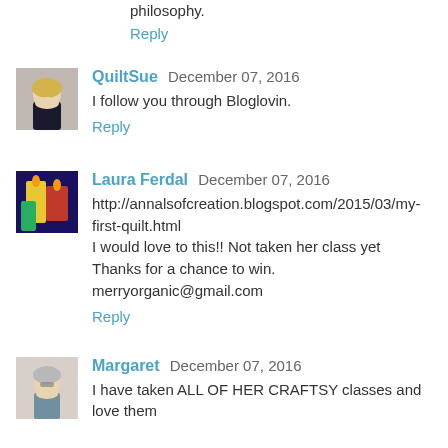philosophy.
Reply
QuiltSue  December 07, 2016
I follow you through Bloglovin.
Reply
[Figure (photo): Avatar of QuiltSue, a woman with blonde hair in a dark top]
Laura Ferdal  December 07, 2016
http://annalsofcreation.blogspot.com/2015/03/my-first-quilt.html
I would love to this!! Not taken her class yet
Thanks for a chance to win. merryorganic@gmail.com
Reply
[Figure (photo): Avatar of Laura Ferdal, colorful illustration with candle]
Margaret  December 07, 2016
I have taken ALL OF HER CRAFTSY classes and love them
[Figure (photo): Avatar of Margaret, a woman with glasses]